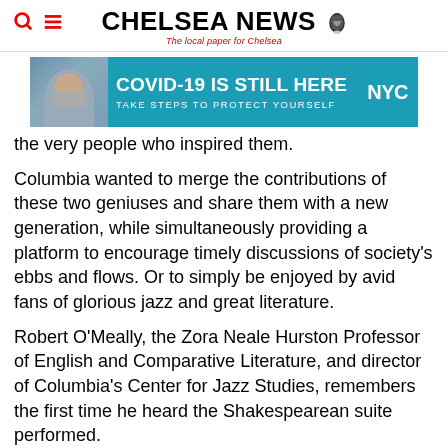CHELSEA NEWS — The local paper for Chelsea
[Figure (infographic): NYC COVID-19 public health advertisement banner: person wearing mask, teal background, text 'COVID-19 IS STILL HERE — TAKE STEPS TO PROTECT YOURSELF' with NYC logo]
the very people who inspired them.
Columbia wanted to merge the contributions of these two geniuses and share them with a new generation, while simultaneously providing a platform to encourage timely discussions of society's ebbs and flows. Or to simply be enjoyed by avid fans of glorious jazz and great literature.
Robert O'Meally, the Zora Neale Hurston Professor of English and Comparative Literature, and director of Columbia's Center for Jazz Studies, remembers the first time he heard the Shakespearean suite performed.
“When I heard Ellington and Strayhorn’s ‘Such Sweet